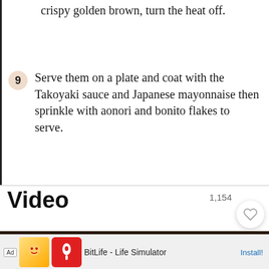crispy golden brown, turn the heat off.
9 Serve them on a plate and coat with the Takoyaki sauce and Japanese mayonnaise then sprinkle with aonori and bonito flakes to serve.
Video
1,154
[Figure (screenshot): Video thumbnail showing food preparation with a can in dark background]
[Figure (screenshot): Ad banner: BitLife - Life Simulator with Install button]